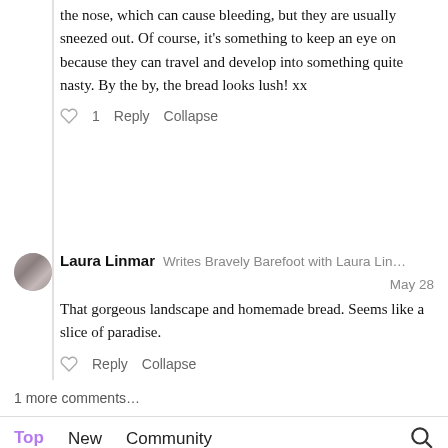the nose, which can cause bleeding, but they are usually sneezed out. Of course, it's something to keep an eye on because they can travel and develop into something quite nasty. By the by, the bread looks lush! xx
♡ 1   Reply   Collapse
Laura Linmar   Writes Bravely Barefoot with Laura Lin…   May 28
That gorgeous landscape and homemade bread. Seems like a slice of paradise.
♡   Reply   Collapse
1 more comments…
Top   New   Community
A night of high drama
To new friends and a dearly departed...